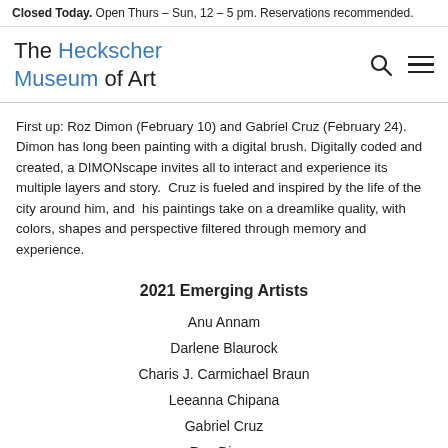Closed Today. Open Thurs – Sun, 12 – 5 pm. Reservations recommended.
The Heckscher Museum of Art
First up: Roz Dimon (February 10) and Gabriel Cruz (February 24). Dimon has long been painting with a digital brush. Digitally coded and created, a DIMONscape invites all to interact and experience its multiple layers and story.  Cruz is fueled and inspired by the life of the city around him, and  his paintings take on a dreamlike quality, with colors, shapes and perspective filtered through memory and experience.
2021 Emerging Artists
Anu Annam
Darlene Blaurock
Charis J. Carmichael Braun
Leeanna Chipana
Gabriel Cruz
Roz Dimon